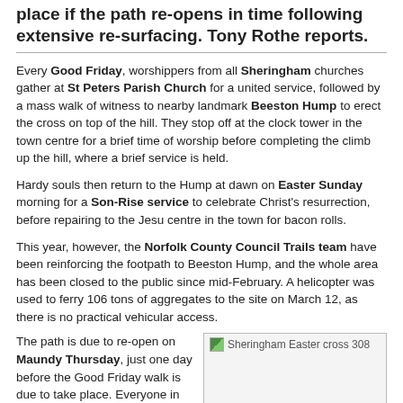place if the path re-opens in time following extensive re-surfacing. Tony Rothe reports.
Every Good Friday, worshippers from all Sheringham churches gather at St Peters Parish Church for a united service, followed by a mass walk of witness to nearby landmark Beeston Hump to erect the cross on top of the hill. They stop off at the clock tower in the town centre for a brief time of worship before completing the climb up the hill, where a brief service is held.
Hardy souls then return to the Hump at dawn on Easter Sunday morning for a Son-Rise service to celebrate Christ's resurrection, before repairing to the Jesu centre in the town for bacon rolls.
This year, however, the Norfolk County Council Trails team have been reinforcing the footpath to Beeston Hump, and the whole area has been closed to the public since mid-February. A helicopter was used to ferry 106 tons of aggregates to the site on March 12, as there is no practical vehicular access.
The path is due to re-open on Maundy Thursday, just one day before the Good Friday walk is due to take place. Everyone in the
[Figure (photo): Sheringham Easter cross 308 — placeholder image showing a cross at Sheringham]